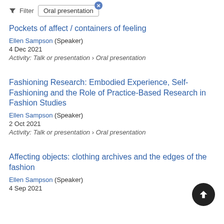Filter  Oral presentation
Pockets of affect / containers of feeling
Ellen Sampson (Speaker)
4 Dec 2021
Activity: Talk or presentation › Oral presentation
Fashioning Research: Embodied Experience, Self-Fashioning and the Role of Practice-Based Research in Fashion Studies
Ellen Sampson (Speaker)
2 Oct 2021
Activity: Talk or presentation › Oral presentation
Affecting objects: clothing archives and the edges of the fashion
Ellen Sampson (Speaker)
4 Sep 2021